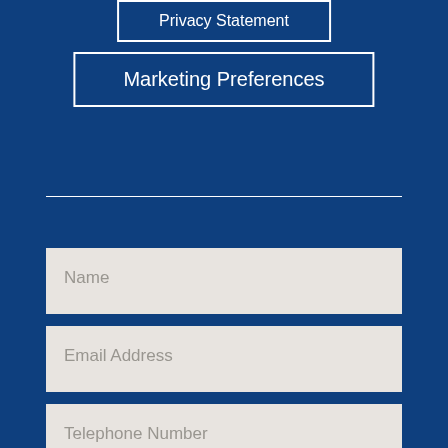Privacy Statement
Marketing Preferences
Name
Email Address
Telephone Number